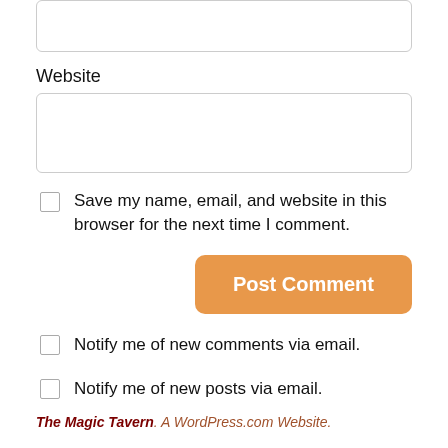Website
Save my name, email, and website in this browser for the next time I comment.
Post Comment
Notify me of new comments via email.
Notify me of new posts via email.
The Magic Tavern. A WordPress.com Website.